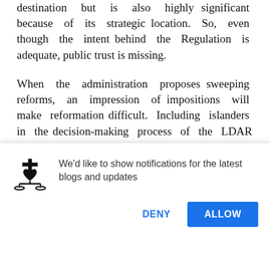destination but is also highly significant because of its strategic location. So, even though the intent behind the Regulation is adequate, public trust is missing.

When the administration proposes sweeping reforms, an impression of impositions will make reformation difficult. Including islanders in the decision-making process of the LDAR and making them stakeholders to this development is the way forward. Standing in the way of cultural habits
[Figure (screenshot): Browser notification prompt overlay: icon of a scales-of-justice / legal logo (black), text reading 'We'd like to show notifications for the latest blogs and updates', with DENY and ALLOW buttons.]